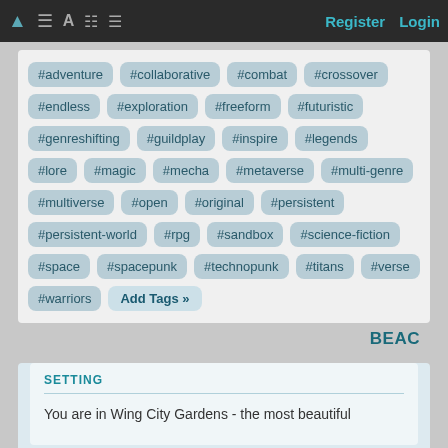Register  Login
#adventure #collaborative #combat #crossover #endless #exploration #freeform #futuristic #genreshifting #guildplay #inspire #legends #lore #magic #mecha #metaverse #multi-genre #multiverse #open #original #persistent #persistent-world #rpg #sandbox #science-fiction #space #spacepunk #technopunk #titans #verse #warriors Add Tags »
BEAC
SETTING
You are in Wing City Gardens - the most beautiful